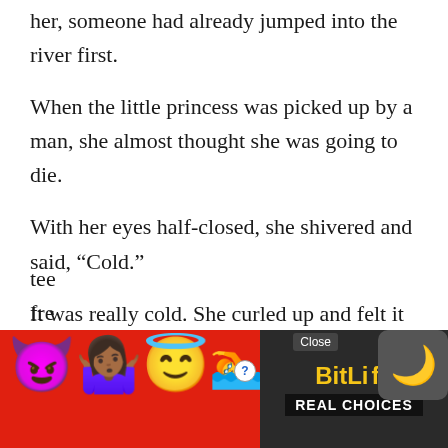her, someone had already jumped into the river first.
When the little princess was picked up by a man, she almost thought she was going to die.
With her eyes half-closed, she shivered and said, “Cold.”
It was really cold. She curled up and felt it was warmer.
But after a while, she still felt very cold, her teeth... fre...
[Figure (screenshot): Advertisement overlay at bottom of page: red background with emoji characters (devil, woman shrugging, angel face, sperm emoji), BitLife logo in yellow on dark background, 'REAL CHOICES' text, Close button, dark moon/night mode icon in corner.]